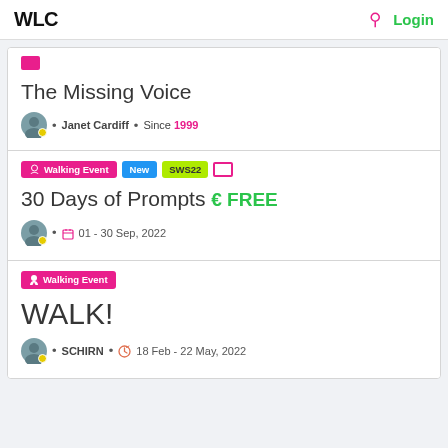WLC  Login
The Missing Voice • Janet Cardiff • Since 1999
Walking Event New SWS22 — 30 Days of Prompts €FREE • 01 - 30 Sep, 2022
Walking Event — WALK! • SCHIRN • 18 Feb - 22 May, 2022